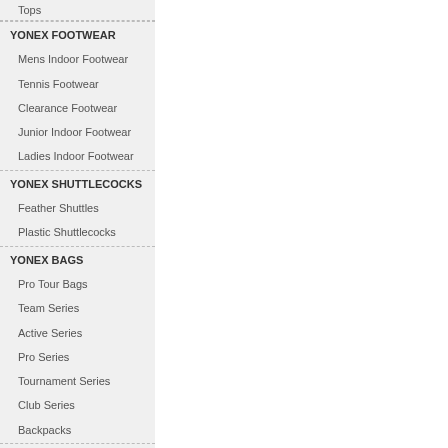Tops
YONEX FOOTWEAR
Mens Indoor Footwear
Tennis Footwear
Clearance Footwear
Junior Indoor Footwear
Ladies Indoor Footwear
YONEX SHUTTLECOCKS
Feather Shuttles
Plastic Shuttlecocks
YONEX BAGS
Pro Tour Bags
Team Series
Active Series
Pro Series
Tournament Series
Club Series
Backpacks
YONEX TENNIS BALLS
YONEX TENNIS STRING
ACCESSORIES